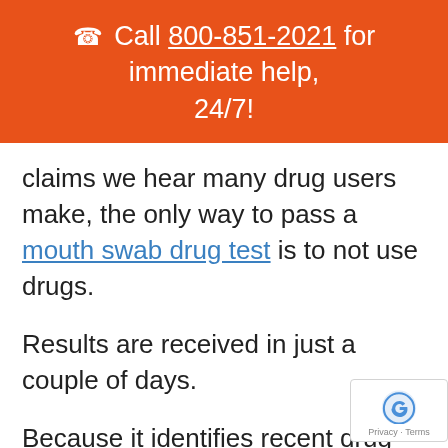☎ Call 800-851-2021 for immediate help, 24/7!
claims we hear many drug users make, the only way to pass a mouth swab drug test is to not use drugs.
Results are received in just a couple of days.
Because it identifies recent drug us... it's becoming a popular choice for